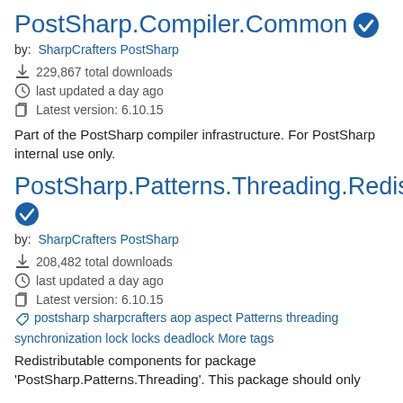PostSharp.Compiler.Common ✓
by: SharpCrafters PostSharp
229,867 total downloads
last updated a day ago
Latest version: 6.10.15
Part of the PostSharp compiler infrastructure. For PostSharp internal use only.
PostSharp.Patterns.Threading.Redist ✓
by: SharpCrafters PostSharp
208,482 total downloads
last updated a day ago
Latest version: 6.10.15
postsharp sharpcrafters aop aspect Patterns threading synchronization lock locks deadlock More tags
Redistributable components for package 'PostSharp.Patterns.Threading'. This package should only